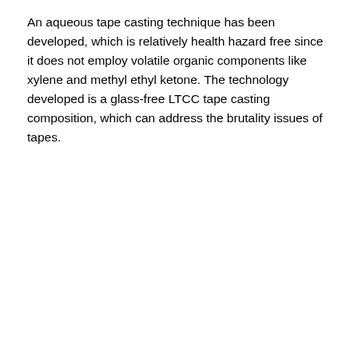An aqueous tape casting technique has been developed, which is relatively health hazard free since it does not employ volatile organic components like xylene and methyl ethyl ketone. The technology developed is a glass-free LTCC tape casting composition, which can address the brutality issues of tapes.